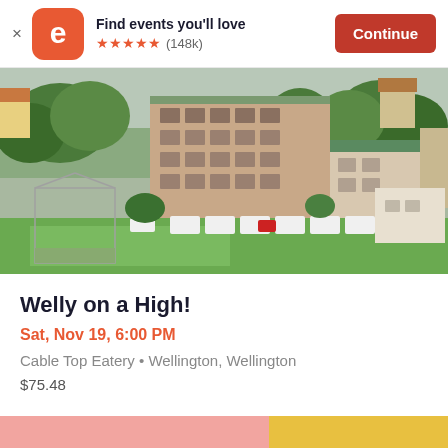Find events you'll love ★★★★★ (148k) Continue
[Figure (photo): Aerial drone photo of a multi-story brick building surrounded by trees and green lawn, with white caravans/trailers parked in front and residential neighbourhood in background, Wellington New Zealand]
Welly on a High!
Sat, Nov 19, 6:00 PM
Cable Top Eatery • Wellington, Wellington
$75.48